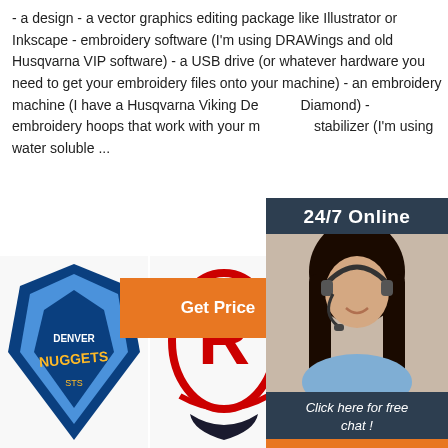- a design - a vector graphics editing package like Illustrator or Inkscape - embroidery software (I'm using DRAWings and old Husqvarna VIP software) - a USB drive (or whatever hardware you need to get your embroidery files onto your machine) - an embroidery machine (I have a Husqvarna Viking Designer Diamond) - embroidery hoops that work with your machine - stabilizer (I'm using water soluble ...
[Figure (other): Online chat widget with '24/7 Online' header, photo of a woman wearing a headset, text 'Click here for free chat!' and an orange QUOTATION button]
[Figure (photo): Orange button labeled 'Get Price']
[Figure (photo): Three NBA team embroidered patches: Denver Nuggets (blue/gold), Houston Rockets (red), New York Knicks (blue/orange/yellow). A 'TOP' watermark in red is visible in the bottom right area.]